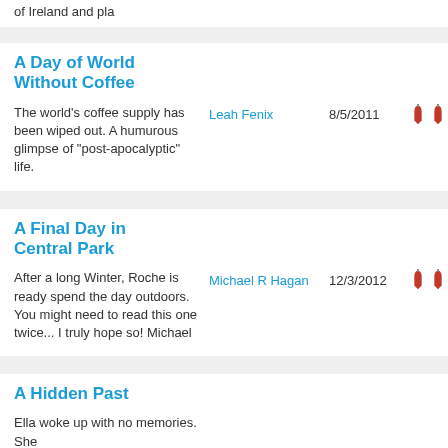of Ireland and pla
A Day of World Without Coffee
The world's coffee supply has been wiped out. A humurous glimpse of "post-apocalyptic" life.
Leah Fenix
8/5/2011
A Final Day in Central Park
After a long Winter, Roche is ready spend the day outdoors. You might need to read this one twice... I truly hope so! Michael
Michael R Hagan
12/3/2012
A Hidden Past
Ella woke up with no memories. She